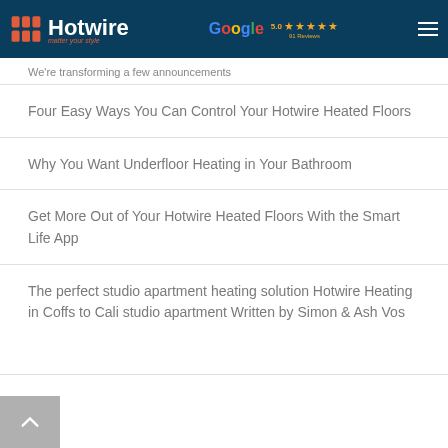Hotwire | Google 5.0 stars 91 Reviews
We're transforming a few announcements
Four Easy Ways You Can Control Your Hotwire Heated Floors
Why You Want Underfloor Heating in Your Bathroom
Get More Out of Your Hotwire Heated Floors With the Smart Life App
The perfect studio apartment heating solution Hotwire Heating in Coffs to Cali studio apartment Written by Simon & Ash Vos